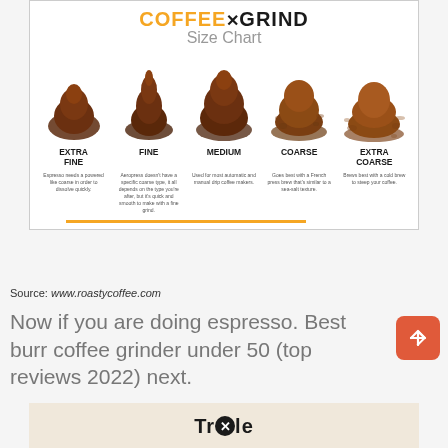[Figure (infographic): Coffee Grind Size Chart showing 5 piles of coffee grounds from Extra Fine to Extra Coarse, with labels and descriptions for each grind type. Espresso: Extra Fine (powdered, dissolves quickly). Fine: Aeropress. Medium: automatic drip. Coarse: French press. Extra Coarse: cold brew.]
Source: www.roastycoffee.com
Now if you are doing espresso. Best burr coffee grinder under 50 (top reviews 2022) next.
[Figure (logo): Partial logo at bottom showing 'Tr[circle-x]le' text on a beige/tan background]